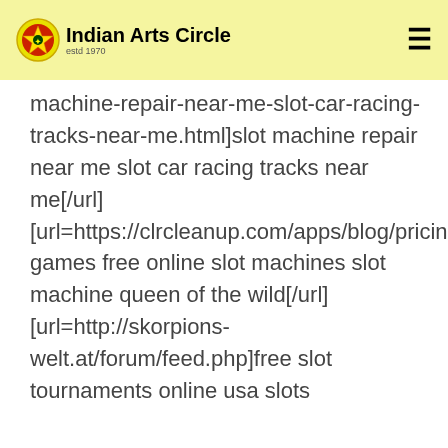Indian Arts Circle — since 1970
machine-repair-near-me-slot-car-racing-tracks-near-me.html]slot machine repair near me slot car racing tracks near me[/url] [url=https://clrcleanup.com/apps/blog/pricing/]casino games free online slot machines slot machine queen of the wild[/url] [url=http://skorpions-welt.at/forum/feed.php]free slot tournaments online usa slots